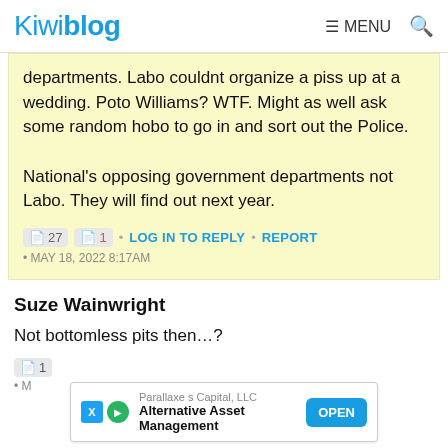Kiwiblog  ☰ MENU  🔍
departments. Labo couldnt organize a piss up at a wedding. Poto Williams? WTF. Might as well ask some random hobo to go in and sort out the Police.

National's opposing government departments not Labo. They will find out next year.
27  1  •  LOG IN TO REPLY  •  REPORT
•  MAY 18, 2022 8:17AM
Suze Wainwright
Not bottomless pits then…?
[Figure (other): Advertisement banner for Parallaxe s Capital, LLC — Alternative Asset Management with OPEN button]